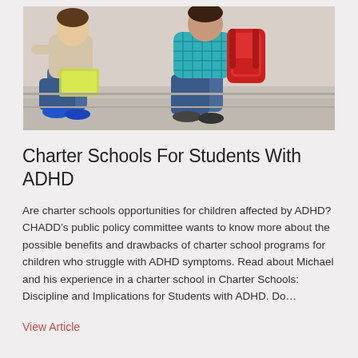[Figure (photo): Two children sitting outdoors, one wearing a teal/turquoise checkered shirt with a red backpack, appearing to look at a book together, photographed from the side/back]
Charter Schools For Students With ADHD
Are charter schools opportunities for children affected by ADHD? CHADD’s public policy committee wants to know more about the possible benefits and drawbacks of charter school programs for children who struggle with ADHD symptoms. Read about Michael and his experience in a charter school in Charter Schools: Discipline and Implications for Students with ADHD. Do…
View Article